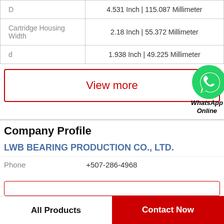| Property | Value |
| --- | --- |
| D | 4.531 Inch | 115.087 Millimeter |
| Cartridge Housing Width | 2.18 Inch | 55.372 Millimeter |
| d | 1.938 Inch | 49.225 Millimeter |
View more
[Figure (logo): WhatsApp green circle icon with phone handset, labeled WhatsApp Online]
Company Profile
LWB BEARING PRODUCTION CO., LTD.
Phone  +507-286-4968
All Products
Contact Now